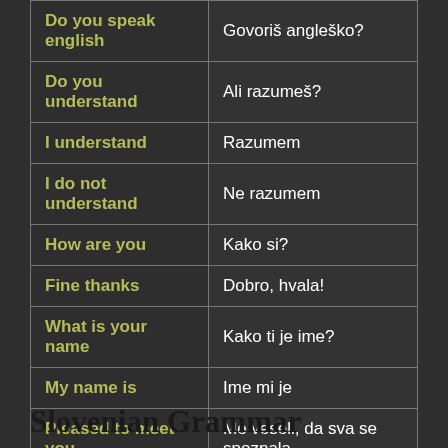| English | Slovenian |
| --- | --- |
| Do you speak english | Govoriš angleško? |
| Do you understand | Ali razumeš? |
| I understand | Razumem |
| I do not understand | Ne razumem |
| How are you | Kako si? |
| Fine thanks | Dobro, hvala! |
| What is your name | Kako ti je ime? |
| My name is | Ime mi je |
| Pleased to meet you | Me veseli, da sva se spoznala |
Slovenian Grammar